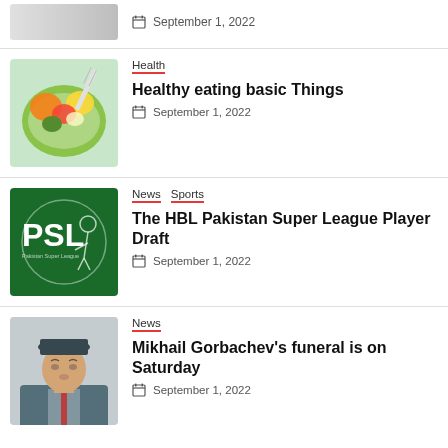September 1, 2022
[Figure (photo): Salad/healthy food with fork]
Health
Healthy eating basic Things
September 1, 2022
[Figure (logo): PSL - Pakistan Super League green logo]
News  Sports
The HBL Pakistan Super League Player Draft
September 1, 2022
[Figure (photo): Mikhail Gorbachev portrait photo]
News
Mikhail Gorbachev's funeral is on Saturday
September 1, 2022